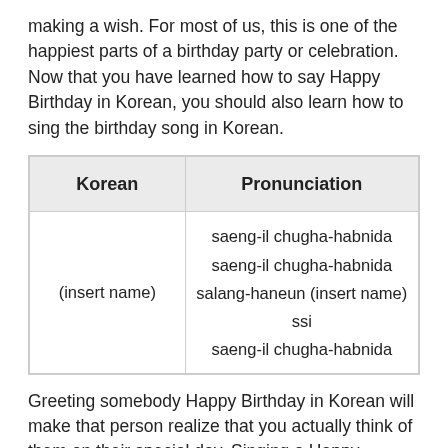making a wish. For most of us, this is one of the happiest parts of a birthday party or celebration. Now that you have learned how to say Happy Birthday in Korean, you should also learn how to sing the birthday song in Korean.
| Korean | Pronunciation |
| --- | --- |
| (insert name) | saeng-il chugha-habnida
saeng-il chugha-habnida
salang-haneun (insert name) ssi
saeng-il chugha-habnida |
Greeting somebody Happy Birthday in Korean will make that person realize that you actually think of them on their special day. Singing a Happy Birthday song is a part of their beautiful culture which involves